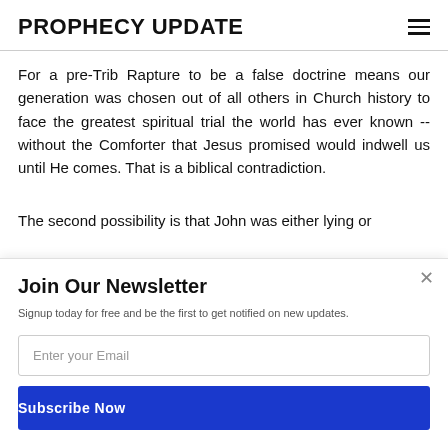PROPHECY UPDATE
For a pre-Trib Rapture to be a false doctrine means our generation was chosen out of all others in Church history to face the greatest spiritual trial the world has ever known -- without the Comforter that Jesus promised would indwell us until He comes. That is a biblical contradiction.
The second possibility is that John was either lying or
Join Our Newsletter
Signup today for free and be the first to get notified on new updates.
Enter your Email
Subscribe Now